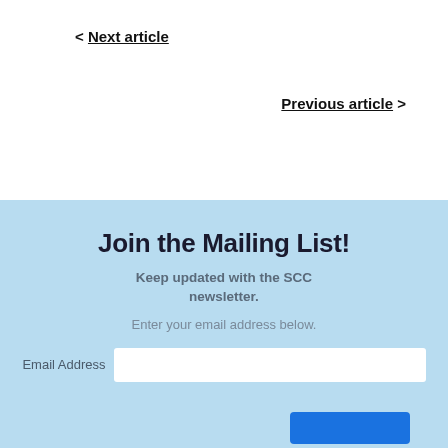< Next article
Previous article >
Join the Mailing List!
Keep updated with the SCC newsletter.
Enter your email address below.
Email Address